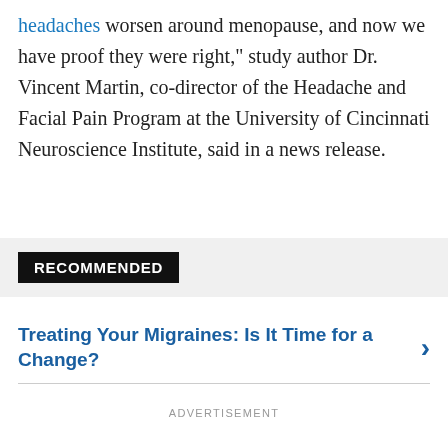headaches worsen around menopause, and now we have proof they were right," study author Dr. Vincent Martin, co-director of the Headache and Facial Pain Program at the University of Cincinnati Neuroscience Institute, said in a news release.
RECOMMENDED
Treating Your Migraines: Is It Time for a Change?
ADVERTISEMENT